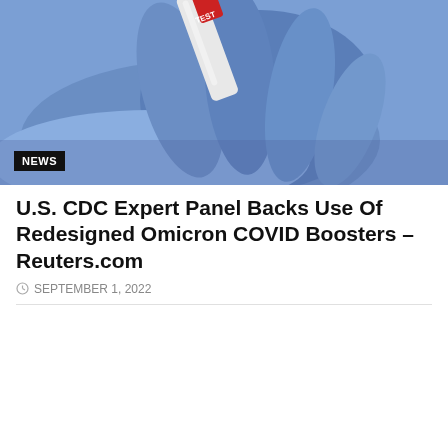[Figure (photo): Close-up photo of blue-gloved hands holding a test tube with red label reading 'TEST', medical/COVID testing context]
U.S. CDC Expert Panel Backs Use Of Redesigned Omicron COVID Boosters – Reuters.com
SEPTEMBER 1, 2022
We use cookies on our website to give you the most relevant experience by remembering your preferences and repeat visits. By clicking "Accept All", you consent to the use of ALL the cookies. However, you may visit "Cookie Settings" to provide a controlled consent.